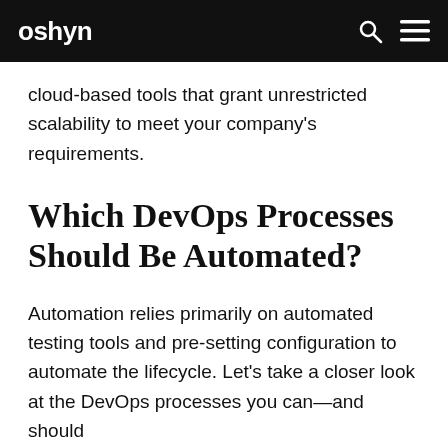oshyn
cloud-based tools that grant unrestricted scalability to meet your company's requirements.
Which DevOps Processes Should Be Automated?
Automation relies primarily on automated testing tools and pre-setting configuration to automate the lifecycle. Let's take a closer look at the DevOps processes you can—and should